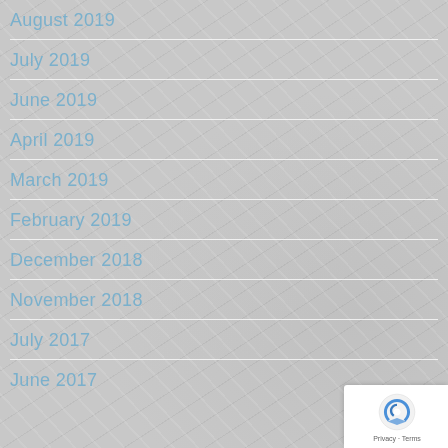August 2019
July 2019
June 2019
April 2019
March 2019
February 2019
December 2018
November 2018
July 2017
June 2017